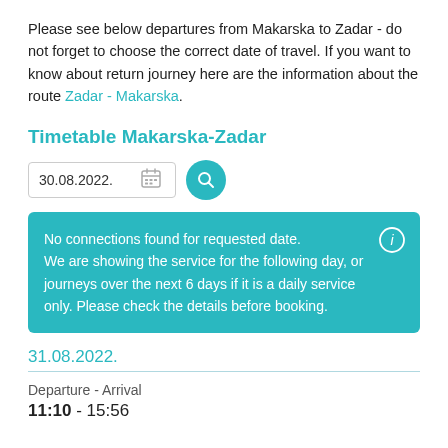Please see below departures from Makarska to Zadar - do not forget to choose the correct date of travel. If you want to know about return journey here are the information about the route Zadar - Makarska.
Timetable Makarska-Zadar
[Figure (screenshot): Date input field showing '30.08.2022.' with a calendar icon, and a teal circular search button with magnifying glass icon]
No connections found for requested date. We are showing the service for the following day, or journeys over the next 6 days if it is a daily service only. Please check the details before booking.
31.08.2022.
Departure - Arrival
11:10 - 15:56